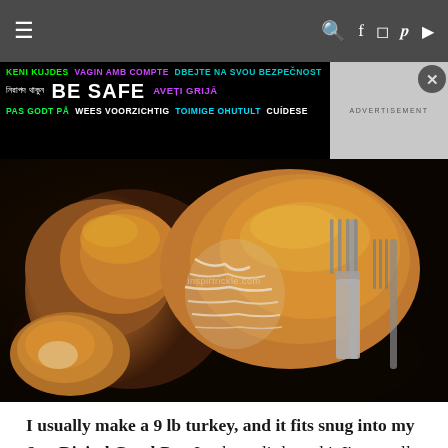≡ navigation bar with search, facebook, instagram, pinterest, youtube icons
[Figure (photo): Multilingual 'Be Safe' advertisement banner with text in multiple languages on black background]
[Figure (photo): Close-up photograph of a roasted turkey being pulled apart with a fork, showing juicy meat strands, on a dark background with watermark]
I usually make a 9 lb turkey, and it fits snug into my 6 qt Digital CrockPot. It takes a little and it I'm usually able to start it in there. Thi